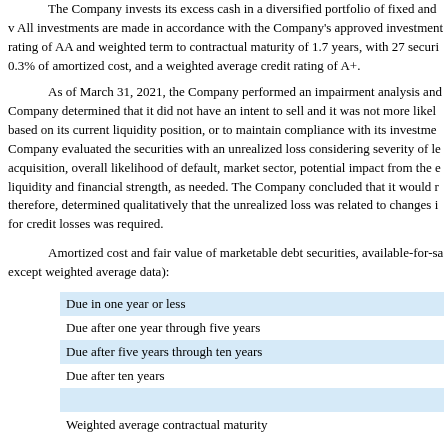The Company invests its excess cash in a diversified portfolio of fixed and v All investments are made in accordance with the Company's approved investment rating of AA and weighted term to contractual maturity of 1.7 years, with 27 securi 0.3% of amortized cost, and a weighted average credit rating of A+.
As of March 31, 2021, the Company performed an impairment analysis and Company determined that it did not have an intent to sell and it was not more likel based on its current liquidity position, or to maintain compliance with its investme Company evaluated the securities with an unrealized loss considering severity of le acquisition, overall likelihood of default, market sector, potential impact from the e liquidity and financial strength, as needed. The Company concluded that it would r therefore, determined qualitatively that the unrealized loss was related to changes i for credit losses was required.
Amortized cost and fair value of marketable debt securities, available-for-sa except weighted average data):
| Due in one year or less |
| Due after one year through five years |
| Due after five years through ten years |
| Due after ten years |
|  |
| Weighted average contractual maturity |
Actual maturities may differ from contractual maturities because certain issu prepayment penalties.